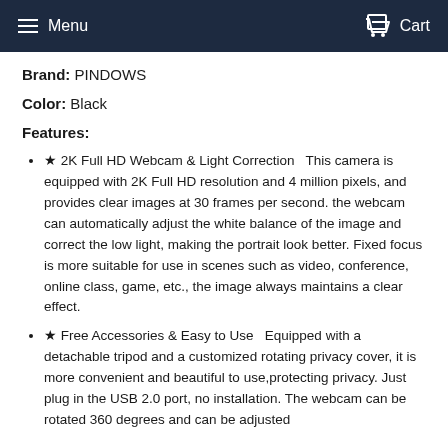Menu   Cart
Brand: PINDOWS
Color: Black
Features:
★ 2K Full HD Webcam & Light Correction  This camera is equipped with 2K Full HD resolution and 4 million pixels, and provides clear images at 30 frames per second. the webcam can automatically adjust the white balance of the image and correct the low light, making the portrait look better. Fixed focus is more suitable for use in scenes such as video, conference, online class, game, etc., the image always maintains a clear effect.
★ Free Accessories & Easy to Use  Equipped with a detachable tripod and a customized rotating privacy cover, it is more convenient and beautiful to use,protecting privacy. Just plug in the USB 2.0 port, no installation. The webcam can be rotated 360 degrees and can be adjusted